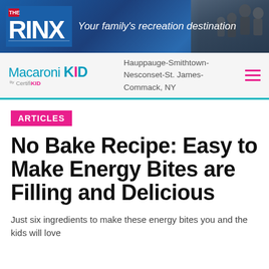[Figure (illustration): THE RINX banner ad: blue gradient background with THE RINX logo on left, tagline 'Your family's recreation destination' in center, silhouette of family group on right]
Macaroni KID by CertifiKID | Hauppauge-Smithtown-Nesconset-St. James-Commack, NY
ARTICLES
No Bake Recipe: Easy to Make Energy Bites are Filling and Delicious
Just six ingredients to make these energy bites you and the kids will love